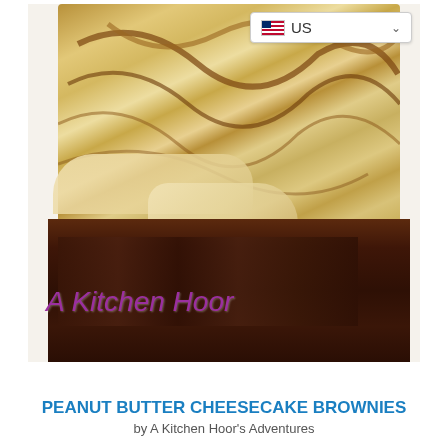[Figure (photo): Close-up photograph of a peanut butter cheesecake brownie slice on a white plate. The brownie has a thick dark chocolate base and a swirled peanut butter cheesecake top layer with marbled brown and tan swirls. A watermark reads 'A Kitchen Hoor' in purple handwritten style text. A US flag dropdown selector is visible in the top right corner of the image.]
PEANUT BUTTER CHEESECAKE BROWNIES
by A Kitchen Hoor's Adventures